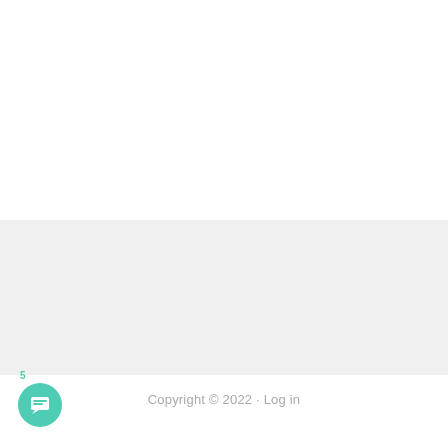[Figure (other): White blank content area at the top of the page]
[Figure (other): Light gray content area in the middle of the page]
[Figure (other): Teal circular chat button with a message/chat icon and badge number 5]
Copyright © 2022 · Log in